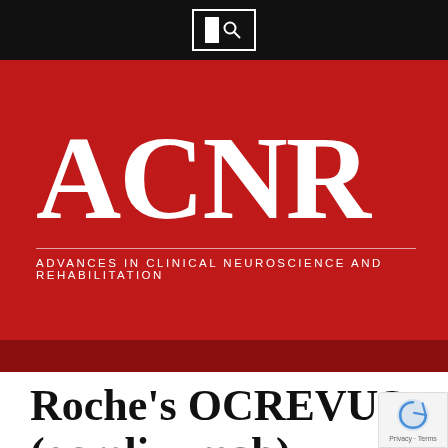[Figure (logo): ACNR journal logo — black top bar with white/search icon, large red banner with 'ACNR' in white serif type and subtitle 'ADVANCES IN CLINICAL NEUROSCIENCE AND REHABILITATION']
Roche's OCREVUS (ocrelizumab)